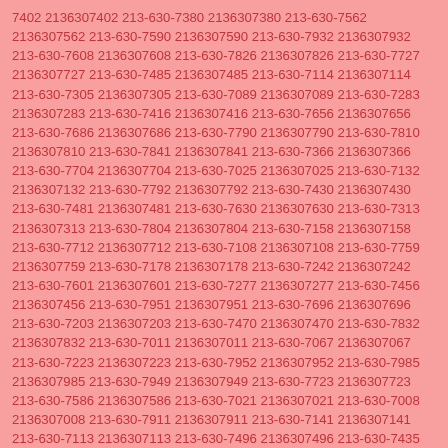7402 2136307402 213-630-7380 2136307380 213-630-7562 2136307562 213-630-7590 2136307590 213-630-7932 2136307932 213-630-7608 2136307608 213-630-7826 2136307826 213-630-7727 2136307727 213-630-7485 2136307485 213-630-7114 2136307114 213-630-7305 2136307305 213-630-7089 2136307089 213-630-7283 2136307283 213-630-7416 2136307416 213-630-7656 2136307656 213-630-7686 2136307686 213-630-7790 2136307790 213-630-7810 2136307810 213-630-7841 2136307841 213-630-7366 2136307366 213-630-7704 2136307704 213-630-7025 2136307025 213-630-7132 2136307132 213-630-7792 2136307792 213-630-7430 2136307430 213-630-7481 2136307481 213-630-7630 2136307630 213-630-7313 2136307313 213-630-7804 2136307804 213-630-7158 2136307158 213-630-7712 2136307712 213-630-7108 2136307108 213-630-7759 2136307759 213-630-7178 2136307178 213-630-7242 2136307242 213-630-7601 2136307601 213-630-7277 2136307277 213-630-7456 2136307456 213-630-7951 2136307951 213-630-7696 2136307696 213-630-7203 2136307203 213-630-7470 2136307470 213-630-7832 2136307832 213-630-7011 2136307011 213-630-7067 2136307067 213-630-7223 2136307223 213-630-7952 2136307952 213-630-7985 2136307985 213-630-7949 2136307949 213-630-7723 2136307723 213-630-7586 2136307586 213-630-7021 2136307021 213-630-7008 2136307008 213-630-7911 2136307911 213-630-7141 2136307141 213-630-7113 2136307113 213-630-7496 2136307496 213-630-7435 2136307435 213-630-7482 2136307482 213-630-7440 2136307440 213-630-7567 2136307567 213-630-7998 2136307998 213-630-7152 2136307152 213-630-